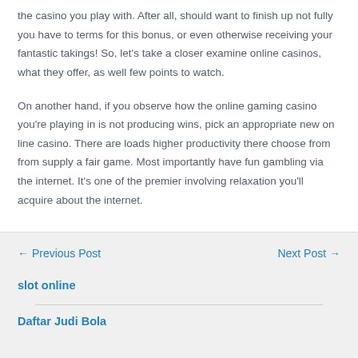the casino you play with. After all, should want to finish up not fully you have to terms for this bonus, or even otherwise receiving your fantastic takings! So, let's take a closer examine online casinos, what they offer, as well few points to watch.
On another hand, if you observe how the online gaming casino you're playing in is not producing wins, pick an appropriate new on line casino. There are loads higher productivity there choose from from supply a fair game. Most importantly have fun gambling via the internet. It's one of the premier involving relaxation you'll acquire about the internet.
← Previous Post     Next Post →
slot online
Daftar Judi Bola